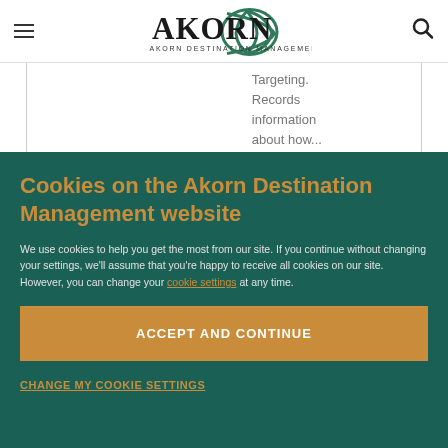Akorn Destination Management
Targeting. Records information about how...
Cookies on the Akorn Destination Management website
We use cookies to help you get the most from our site. If you continue without changing your settings, we'll assume that you're happy to receive all cookies on our site. However, you can change your cookie settings at any time.
ACCEPT AND CONTINUE
CHANGE MY COOKIE SETTINGS